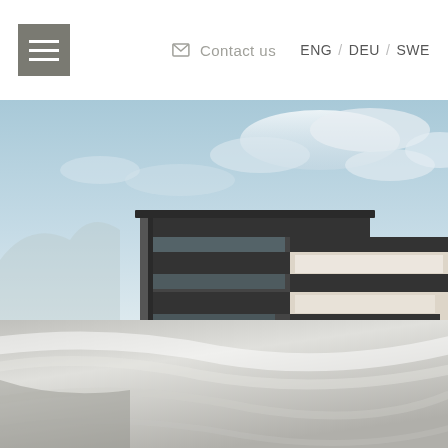Menu | Contact us | ENG / DEU / SWE
[Figure (photo): Architectural rendering of a modern multi-story residential building with dark horizontal banding, glass balconies, and white facade panels, set against a blue sky with clouds and mountains. Below is a close-up abstract shot of a reflective curved surface.]